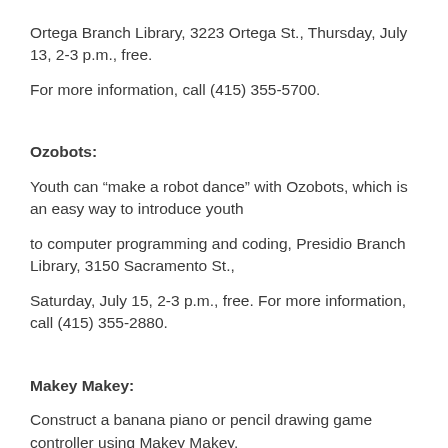Ortega Branch Library, 3223 Ortega St., Thursday, July 13, 2-3 p.m., free.
For more information, call (415) 355-5700.
Ozobots:
Youth can “make a robot dance” with Ozobots, which is an easy way to introduce youth
to computer programming and coding, Presidio Branch Library, 3150 Sacramento St.,
Saturday, July 15, 2-3 p.m., free. For more information, call (415) 355-2880.
Makey Makey:
Construct a banana piano or pencil drawing game controller using Makey Makey.